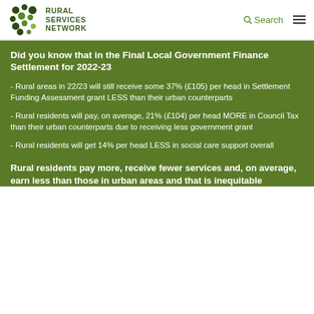Rural Services Network
Did you know that in the Final Local Government Finance Settlement for 2022-23
- Rural areas in 22/23 will still receive some 37% (£105) per head in Settlement Funding Assessment grant LESS than their urban counterparts
- Rural residents will pay, on average, 21% (£104) per head MORE in Council Tax than their urban counterparts due to receiving less government grant
- Rural residents will get 14% per head LESS in social care support overall
Rural residents pay more, receive fewer services and, on average, earn less than those in urban areas and that is inequitable